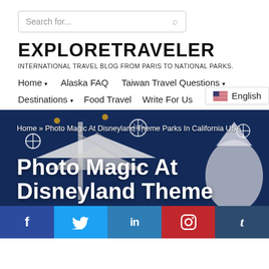Search for...
EXPLORETRAVELER
INTERNATIONAL TRAVEL BLOG FROM PARIS TO NATIONAL PARKS.
Home  Alaska FAQ  Taiwan Travel Questions  Destinations  Food Travel  Write For Us  English
Home » Photo Magic At Disneyland Theme Parks In California USA
Photo Magic At Disneyland Theme
[Figure (screenshot): Disneyland theme park buildings with blue sky, decorated with snowflakes and ornate architecture in blue tones]
f  Twitter  in  Pinterest  t